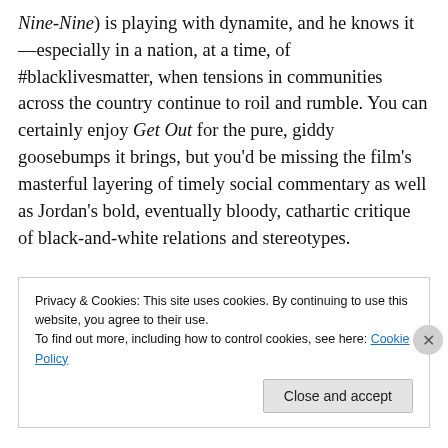Nine-Nine) is playing with dynamite, and he knows it—especially in a nation, at a time, of #blacklivesmatter, when tensions in communities across the country continue to roil and rumble. You can certainly enjoy Get Out for the pure, giddy goosebumps it brings, but you'd be missing the film's masterful layering of timely social commentary as well as Jordan's bold, eventually bloody, cathartic critique of black-and-white relations and stereotypes.

And Peele doesn't stop there. He draws a subtle, scathing line that connects American imperialism all the way back
Privacy & Cookies: This site uses cookies. By continuing to use this website, you agree to their use.
To find out more, including how to control cookies, see here: Cookie Policy
Close and accept